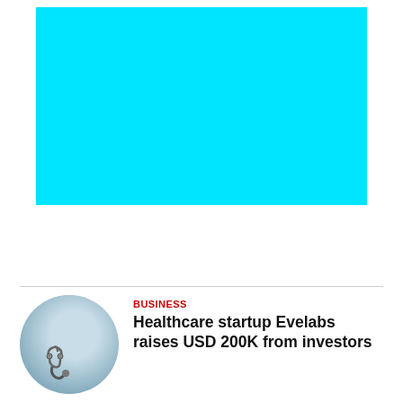[Figure (photo): Solid cyan/aqua colored rectangle representing a photo placeholder]
[Figure (photo): Circular thumbnail of a healthcare worker in light blue scrubs holding a stethoscope]
BUSINESS
Healthcare startup Evelabs raises USD 200K from investors